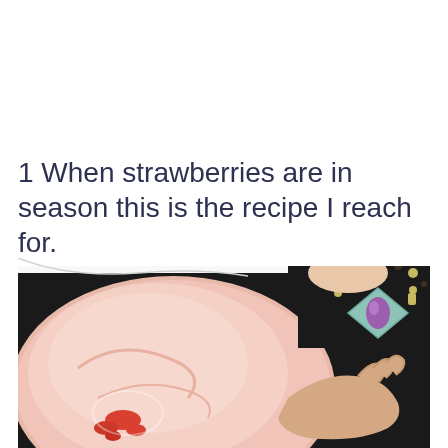1 When strawberries are in season this is the recipe I reach for.
[Figure (photo): A person wearing a black top and a decorative necklace with a mint-green geometric pendant and purple stone holds a large mixing bowl containing pink strawberry whipped cream or mousse, viewed from above at an angle. The bowl interior shows swirls of pale pink cream with some red strawberry pieces at the bottom.]